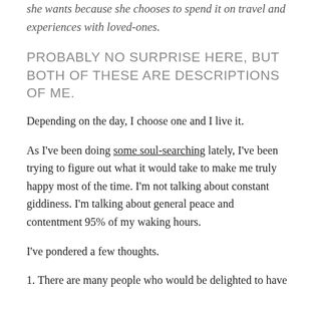she wants because she chooses to spend it on travel and experiences with loved-ones.
PROBABLY NO SURPRISE HERE, BUT BOTH OF THESE ARE DESCRIPTIONS OF ME.
Depending on the day, I choose one and I live it.
As I've been doing some soul-searching lately, I've been trying to figure out what it would take to make me truly happy most of the time. I'm not talking about constant giddiness. I'm talking about general peace and contentment 95% of my waking hours.
I've pondered a few thoughts.
1. There are many people who would be delighted to have